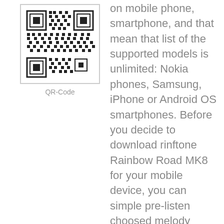[Figure (other): QR code image in a light gray border box]
QR-Code
on mobile phone, smartphone, and that mean that list of the supported models is unlimited: Nokia phones, Samsung, iPhone or Android OS smartphones. Before you decide to download rinftone Rainbow Road MK8 for your mobile device, you can simple pre-listen choosed melody Rainbow Road MK8, and just after that, sure if you like it - download it to your